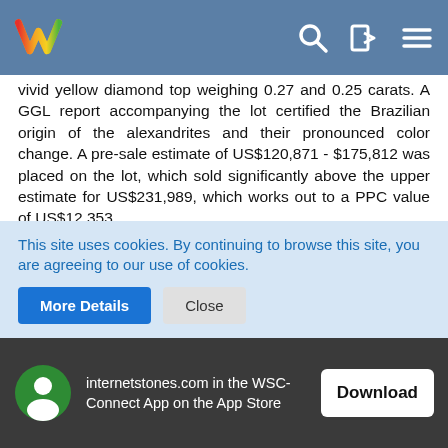internetstones.com navigation bar with logo and icons
vivid yellow diamond top weighing 0.27 and 0.25 carats. A GGL report accompanying the lot certified the Brazilian origin of the alexandrites and their pronounced color change. A pre-sale estimate of US$120,871 - $175,812 was placed on the lot, which sold significantly above the upper estimate for US$231,989, which works out to a PPC value of US$12,353.
Another jewelry lot incorporating a cushion-cut Ceylon alexandrite weighing 8.41 carats appeared at Christie's New York Magnificent Jewels Sale held on April 16, 2014. The jewelry piece designed by Marcus & Co. around year 1900 during the Art Nouveau period is described as An Art Nouveau Alexandrite, Diamond and Enamel Brooch. The
This site uses cookies. By continuing to browse this site, you are agreeing to our use of cookies.
More Details   Close
internetstones.com in the WSC-Connect App on the App Store   Download